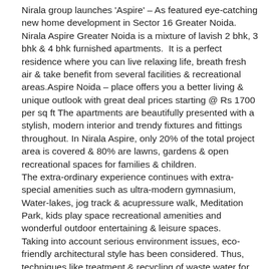Nirala group launches 'Aspire' – As featured eye-catching new home development in Sector 16 Greater Noida. Nirala Aspire Greater Noida is a mixture of lavish 2 bhk, 3 bhk & 4 bhk furnished apartments.  It is a perfect residence where you can live relaxing life, breath fresh air & take benefit from several facilities & recreational areas.Aspire Noida – place offers you a better living & unique outlook with great deal prices starting @ Rs 1700 per sq ft The apartments are beautifully presented with a stylish, modern interior and trendy fixtures and fittings throughout. In Nirala Aspire, only 20% of the total project area is covered & 80% are lawns, gardens & open recreational spaces for families & children. The extra-ordinary experience continues with extra-special amenities such as ultra-modern gymnasium, Water-lakes, jog track & acupressure walk, Meditation Park, kids play space recreational amenities and wonderful outdoor entertaining & leisure spaces. Taking into account serious environment issues, eco-friendly architectural style has been considered. Thus, techniques like treatment & recycling of waste water for irrigation, rain water harvesting are imparted. Come, have the benefit of the facilitated eco-friendly healthy living with especial landscaping & conveniences altogether!! Nirala Aspire -a beneficial Location from living as well as investment point of view: